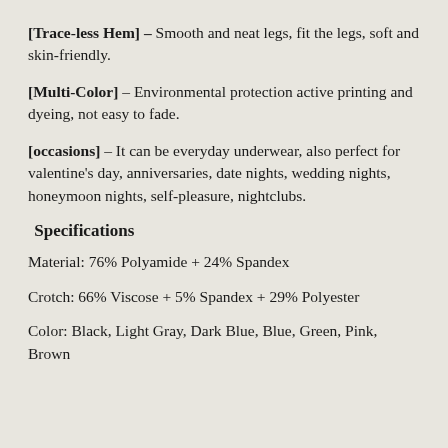[Trace-less Hem] – Smooth and neat legs, fit the legs, soft and skin-friendly.
[Multi-Color] – Environmental protection active printing and dyeing, not easy to fade.
[occasions] – It can be everyday underwear, also perfect for valentine's day, anniversaries, date nights, wedding nights, honeymoon nights, self-pleasure, nightclubs.
Specifications
Material: 76% Polyamide + 24% Spandex
Crotch: 66% Viscose + 5% Spandex + 29% Polyester
Color: Black, Light Gray, Dark Blue, Blue, Green, Pink, Brown